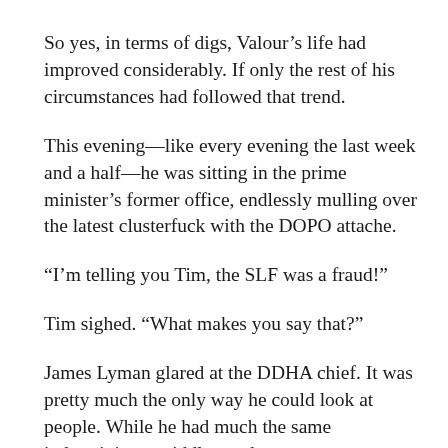So yes, in terms of digs, Valour’s life had improved considerably. If only the rest of his circumstances had followed that trend.
This evening—like every evening the last week and a half—he was sitting in the prime minister’s former office, endlessly mulling over the latest clusterfuck with the DOPO attache.
“I’m telling you Tim, the SLF was a fraud!”
Tim sighed. “What makes you say that?”
James Lyman glared at the DDHA chief. It was pretty much the only way he could look at people. While he had much the same indermininate middle-aged greyness as most military-intelligence men of their rank, he lacked that common stocky solidity. In fact, Tim thought he looked like